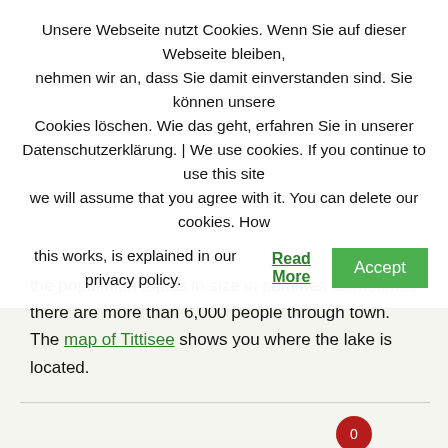Unsere Webseite nutzt Cookies. Wenn Sie auf dieser Webseite bleiben, nehmen wir an, dass Sie damit einverstanden sind. Sie können unsere Cookies löschen. Wie das geht, erfahren Sie in unserer Datenschutzerklärung. | We use cookies. If you continue to use this site we will assume that you agree with it. You can delete our cookies. How this works, is explained in our privacy policy. Read More [Accept]
the population triples in size in summer. Sometimes there are more than 6,000 people through town. The map of Tittisee shows you where the lake is located.